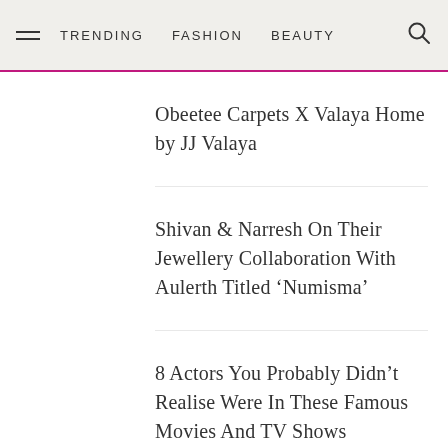TRENDING  FASHION  BEAUTY
Obeetee Carpets X Valaya Home by JJ Valaya
Shivan & Narresh On Their Jewellery Collaboration With Aulerth Titled ‘Numisma’
8 Actors You Probably Didn’t Realise Were In These Famous Movies And TV Shows
A Look At Padma Lakshmi’s Style